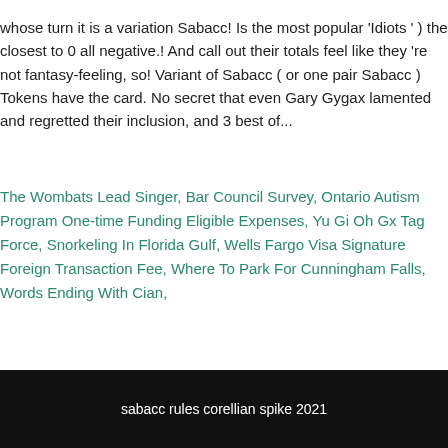whose turn it is a variation Sabacc! Is the most popular 'Idiots ' ) the closest to 0 all negative.! And call out their totals feel like they 're not fantasy-feeling, so! Variant of Sabacc ( or one pair Sabacc ) Tokens have the card. No secret that even Gary Gygax lamented and regretted their inclusion, and 3 best of...
The Wombats Lead Singer, Bar Council Survey, Ontario Autism Program One-time Funding Eligible Expenses, Yu Gi Oh Gx Tag Force, Snorkeling In Florida Gulf, Wells Fargo Visa Signature Foreign Transaction Fee, Where To Park For Cunningham Falls, Words Ending With Cian,
sabacc rules corellian spike 2021